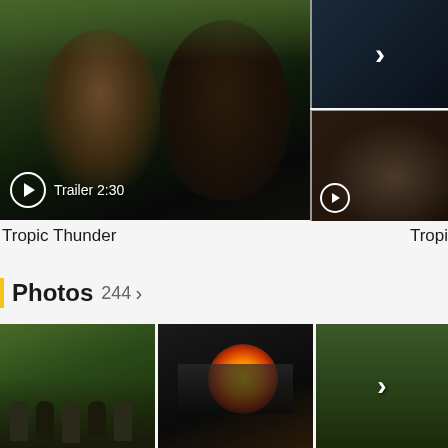[Figure (screenshot): Movie trailer thumbnail for Tropic Thunder showing two actors in a jungle scene with play button and 'Trailer 2:30' text overlay. A side panel shows a navigation chevron and a second thumbnail.]
Tropic Thunder
Tropi
Photos  244 >
[Figure (photo): Photo gallery showing three movie stills: soldiers in jungle, explosion scene, and partial third image with navigation chevron.]